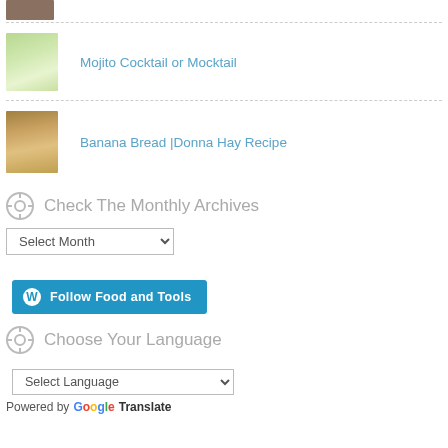[Figure (photo): Small thumbnail image at top of page, partially cut off]
Mojito Cocktail or Mocktail
Banana Bread |Donna Hay Recipe
Check The Monthly Archives
Select Month (dropdown)
[Figure (logo): Follow Food and Tools button with WordPress icon]
Choose Your Language
Select Language (dropdown)
Powered by Google Translate